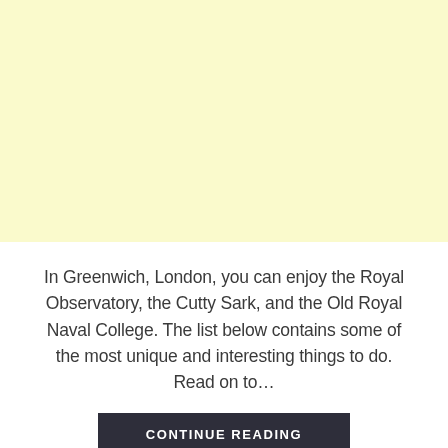[Figure (other): Large light yellow rectangle placeholder image area]
In Greenwich, London, you can enjoy the Royal Observatory, the Cutty Sark, and the Old Royal Naval College. The list below contains some of the most unique and interesting things to do. Read on to…
CONTINUE READING